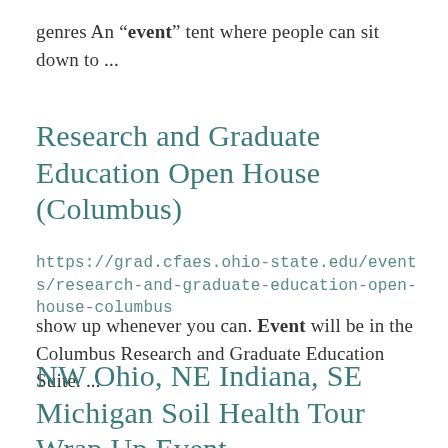genres An “event” tent where people can sit down to ...
Research and Graduate Education Open House (Columbus)
https://grad.cfaes.ohio-state.edu/events/research-and-graduate-education-open-house-columbus
show up whenever you can. Event will be in the Columbus Research and Graduate Education Suite. ...
NW Ohio, NE Indiana, SE Michigan Soil Health Tour Wrap Up Event